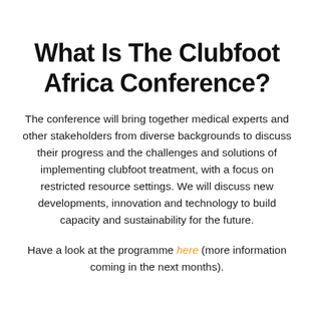What Is The Clubfoot Africa Conference?
The conference will bring together medical experts and other stakeholders from diverse backgrounds to discuss their progress and the challenges and solutions of implementing clubfoot treatment, with a focus on restricted resource settings. We will discuss new developments, innovation and technology to build capacity and sustainability for the future.
Have a look at the programme here (more information coming in the next months).